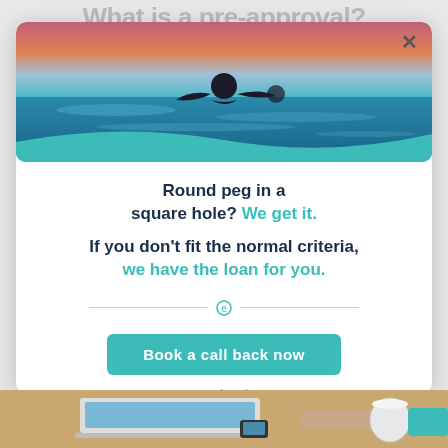What is a pre-approval?
[Figure (photo): Ocean swimming scene with a person in the water at sunset, with teal wave graphic at the bottom]
Round peg in a square hole? We get it.
If you don't fit the normal criteria, we have the loan for you.
[Figure (other): Horizontal divider with small teal icon in the center]
Book a call back now
No, thanks
[Figure (photo): Person working on a laptop at a desk, partial bottom of page photo]